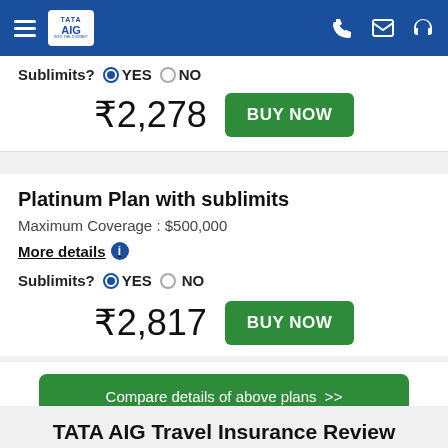TATA AIG — Navigation header with hamburger menu, logo, phone, email, and headset icons
Sublimits? YES NO
₹2,278  BUY NOW
Platinum Plan with sublimits
Maximum Coverage : $500,000
More details ℹ
Sublimits? YES NO
₹2,817  BUY NOW
Compare details of above plans >>
TATA AIG Travel Insurance Review